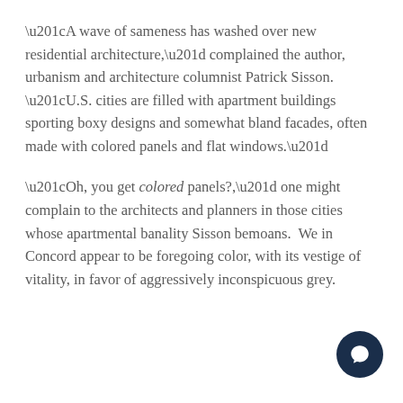“A wave of sameness has washed over new residential architecture,” complained the author, urbanism and architecture columnist Patrick Sisson. “U.S. cities are filled with apartment buildings sporting boxy designs and somewhat bland facades, often made with colored panels and flat windows.”
“Oh, you get colored panels?,” one might complain to the architects and planners in those cities whose apartmental banality Sisson bemoans.  We in Concord appear to be foregoing color, with its vestige of vitality, in favor of aggressively inconspicuous grey.